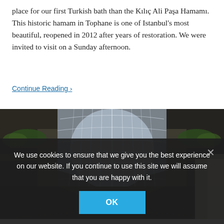place for our first Turkish bath than the Kılıç Ali Paşa Hamamı. This historic hamam in Tophane is one of Istanbul's most beautiful, reopened in 2012 after years of restoration. We were invited to visit on a Sunday afternoon.
Continue Reading ›
[Figure (photo): Interior of a grand historic arcade or passage with an arched glass ceiling, ornate classical columns and balconies with plants visible on the upper floors.]
We use cookies to ensure that we give you the best experience on our website. If you continue to use this site we will assume that you are happy with it.